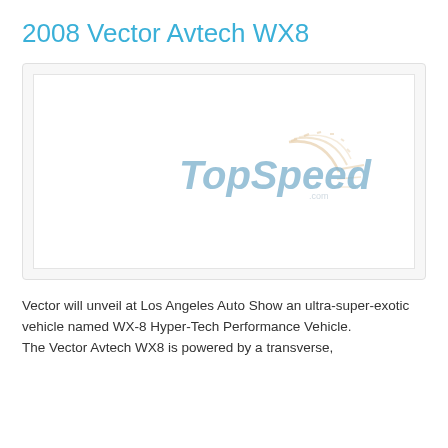2008 Vector Avtech WX8
[Figure (logo): TopSpeed.com watermark logo centered in a white image placeholder box with light border, showing the TopSpeed text in blue and a speedometer graphic in orange/tan]
Vector will unveil at Los Angeles Auto Show an ultra-super-exotic vehicle named WX-8 Hyper-Tech Performance Vehicle.
The Vector Avtech WX8 is powered by a transverse,